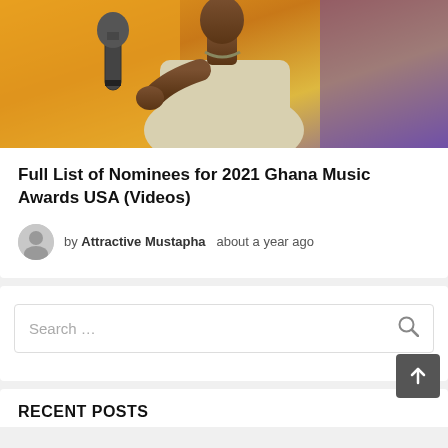[Figure (photo): A person singing into a microphone, wearing a light-colored outfit, with an orange/yellow background]
Full List of Nominees for 2021 Ghana Music Awards USA (Videos)
by Attractive Mustapha  about a year ago
Search …
RECENT POSTS